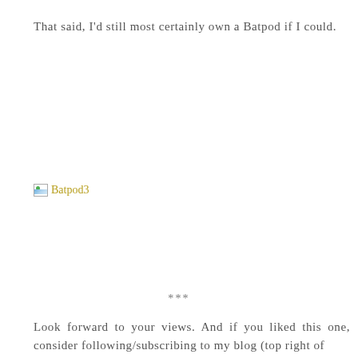That said, I'd still most certainly own a Batpod if I could.
[Figure (photo): Broken image placeholder labeled 'Batpod3' shown with small broken image icon and olive/yellow colored alt text]
***
Look forward to your views. And if you liked this one, consider following/subscribing to my blog (top right of